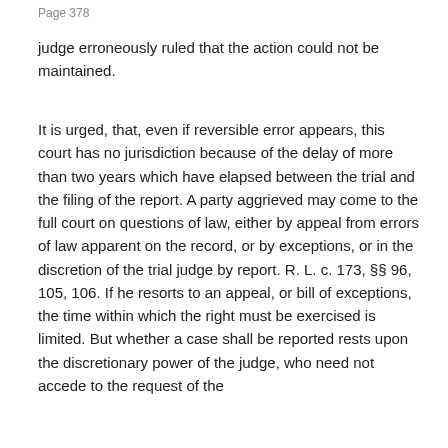Page 378
judge erroneously ruled that the action could not be maintained.
It is urged, that, even if reversible error appears, this court has no jurisdiction because of the delay of more than two years which have elapsed between the trial and the filing of the report. A party aggrieved may come to the full court on questions of law, either by appeal from errors of law apparent on the record, or by exceptions, or in the discretion of the trial judge by report. R. L. c. 173, §§ 96, 105, 106. If he resorts to an appeal, or bill of exceptions, the time within which the right must be exercised is limited. But whether a case shall be reported rests upon the discretionary power of the judge, who need not accede to the request of the